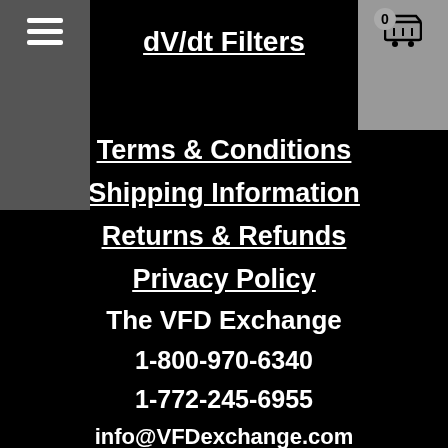dV/dt Filters
Terms & Conditions
Shipping Information
Returns & Refunds
Privacy Policy
The VFD Exchange
1-800-970-6340
1-772-245-6955
info@VFDexchange.com